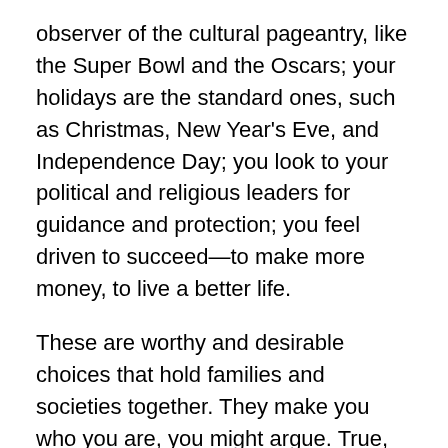observer of the cultural pageantry, like the Super Bowl and the Oscars; your holidays are the standard ones, such as Christmas, New Year's Eve, and Independence Day; you look to your political and religious leaders for guidance and protection; you feel driven to succeed—to make more money, to live a better life.
These are worthy and desirable choices that hold families and societies together. They make you who you are, you might argue. True, but only if you are content with admiring the wrapping and never looking inside the box. If you dared to look, you'd discover how these basic thoughts originate in a fundamental belief formed during the first years of your life: that survival depends on obeying the rules. Children typically bend their perceptions and interpretations of reality to match those of their